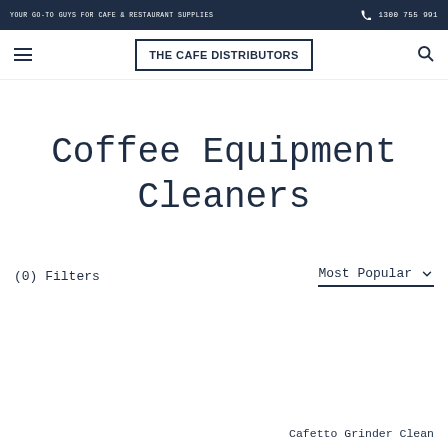YOUR GO-TO GUYS FOR CAFE & RESTAURANT SUPPLIES | 1300 755 991
[Figure (logo): The Cafe Distributors logo in a rectangular border with bold uppercase text]
Coffee Equipment Cleaners
(0) Filters
Most Popular
Cafetto Grinder Clean